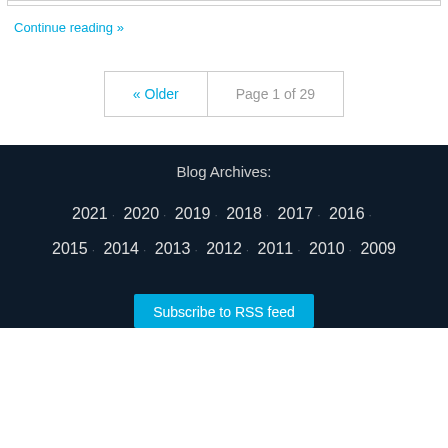Continue reading »
« Older   Page 1 of 29
Blog Archives:
2021 · 2020 · 2019 · 2018 · 2017 · 2016 · 2015 · 2014 · 2013 · 2012 · 2011 · 2010 · 2009
Subscribe to RSS feed